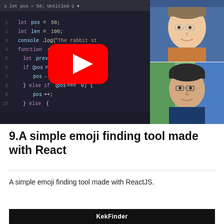[Figure (screenshot): YouTube video thumbnail showing a VS Code editor with JavaScript code (let pos=50, let len=100, console.log, function step, if/else logic), a YouTube play button overlay, and two person avatars on the right side.]
9.A simple emoji finding tool made with React
A simple emoji finding tool made with ReactJS.
[Figure (screenshot): Dark banner bar with white text reading KekFinder]